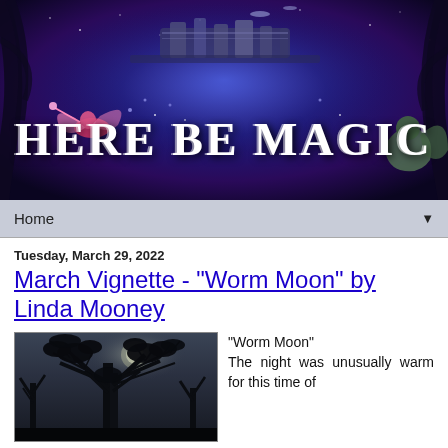[Figure (illustration): Here Be Magic blog banner with fantasy/sci-fi artwork: fairy, gargoyle, futuristic city, blue/purple nebula background, white bold serif text reading 'HERE BE MAGIC']
Home ▼
Tuesday, March 29, 2022
March Vignette - "Worm Moon" by Linda Mooney
[Figure (photo): Night scene photograph showing dark tree silhouettes against a moody grey-blue sky, partially cut off]
"Worm Moon" The night was unusually warm for this time of